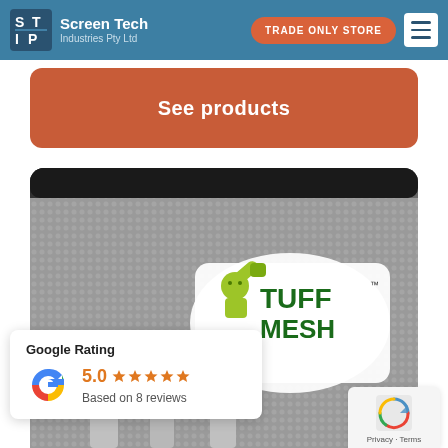Screen Tech Industries Pty Ltd | TRADE ONLY STORE
See products
[Figure (photo): Product photo showing Tuff Mesh screen material with the Tuff Mesh brand logo (cartoon strongman character with TUFF MESH text in green letters on white background). Metal fittings visible at bottom.]
Google Rating
5.0 ★★★★★
Based on 8 reviews